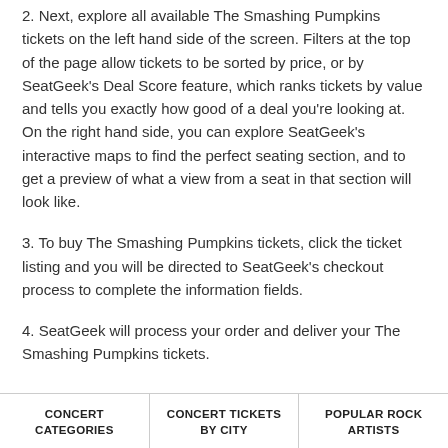2. Next, explore all available The Smashing Pumpkins tickets on the left hand side of the screen. Filters at the top of the page allow tickets to be sorted by price, or by SeatGeek's Deal Score feature, which ranks tickets by value and tells you exactly how good of a deal you're looking at. On the right hand side, you can explore SeatGeek's interactive maps to find the perfect seating section, and to get a preview of what a view from a seat in that section will look like.
3. To buy The Smashing Pumpkins tickets, click the ticket listing and you will be directed to SeatGeek's checkout process to complete the information fields.
4. SeatGeek will process your order and deliver your The Smashing Pumpkins tickets.
CONCERT CATEGORIES | CONCERT TICKETS BY CITY | POPULAR ROCK ARTISTS